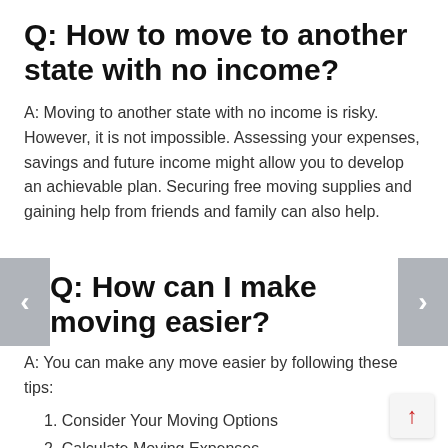Q: How to move to another state with no income?
A: Moving to another state with no income is risky. However, it is not impossible. Assessing your expenses, savings and future income might allow you to develop an achievable plan. Securing free moving supplies and gaining help from friends and family can also help.
Q: How can I make moving easier?
A: You can make any move easier by following these tips:
1. Consider Your Moving Options
2. Calculate Moving Expenses